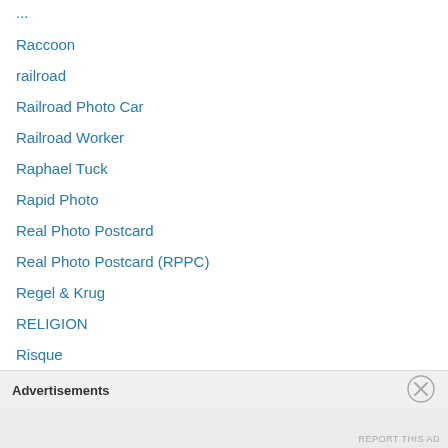Raccoon
railroad
Railroad Photo Car
Railroad Worker
Raphael Tuck
Rapid Photo
Real Photo Postcard
Real Photo Postcard (RPPC)
Regel & Krug
RELIGION
Risque
Romania
Ross Verlag
Rotary Photo
Rotograph Company
Rotophot
Advertisements